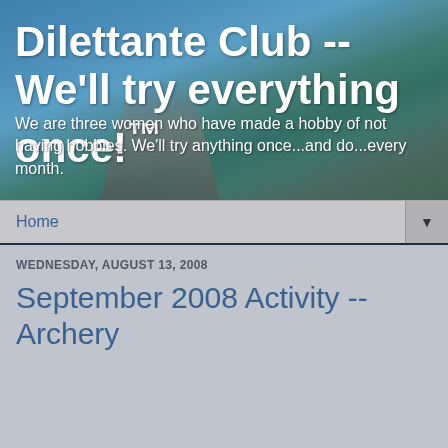Dilettante Club -- We'll try everything once!™
We are three women who have made a hobby of not having hobbies. We'll try anything once...and do...every month.
Home
WEDNESDAY, AUGUST 13, 2008
September 2008 Activity -- Archery